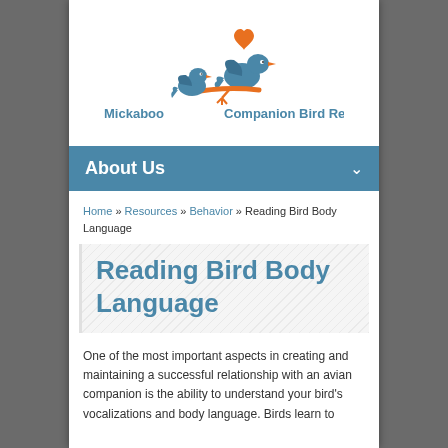[Figure (logo): Mickaboo Companion Bird Rescue logo with two stylized blue birds and orange accents, with text 'Mickaboo Companion Bird Rescue' in blue]
About Us
Home » Resources » Behavior » Reading Bird Body Language
Reading Bird Body Language
One of the most important aspects in creating and maintaining a successful relationship with an avian companion is the ability to understand your bird's vocalizations and body language. Birds learn to